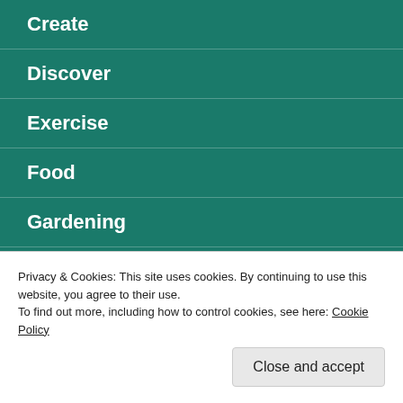Create
Discover
Exercise
Food
Gardening
Inspire
Lifestyle
Music
Self Help
Privacy & Cookies: This site uses cookies. By continuing to use this website, you agree to their use.
To find out more, including how to control cookies, see here: Cookie Policy
Close and accept